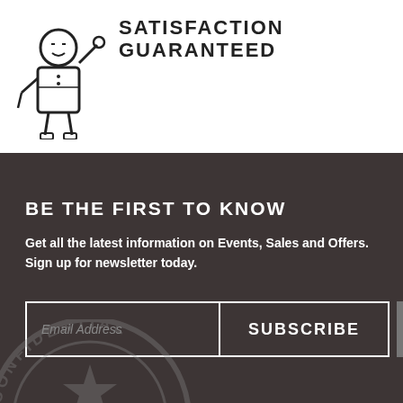[Figure (illustration): Satisfaction guaranteed icon showing a worker/contractor figure with tools, outline style illustration]
SATISFACTION GUARANTEED
BE THE FIRST TO KNOW
Get all the latest information on Events, Sales and Offers. Sign up for newsletter today.
[Figure (infographic): Email subscription row with Email Address input field, SUBSCRIBE button, and Facebook icon button]
[Figure (illustration): Confidential Top Secret stamp watermark in gray, circular stamp design with star and diagonal text]